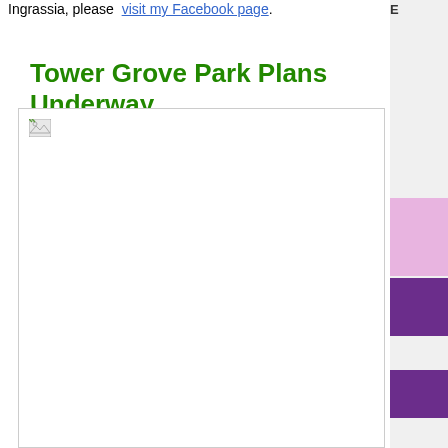Ingrassia, please  visit my Facebook page.
Tower Grove Park Plans Underway
[Figure (photo): Placeholder image (broken/missing image icon) for Tower Grove Park Plans Underway article]